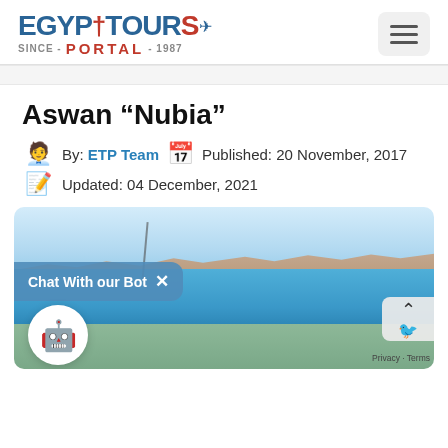Egypt Tours Portal – Since 1987
Aswan “Nubia”
By: ETP Team  Published: 20 November, 2017
Updated: 04 December, 2021
[Figure (photo): Aswan Nubia waterfront panorama with blue river, sailing boats, palm trees, and rocky hills in background]
Chat With our Bot  ×